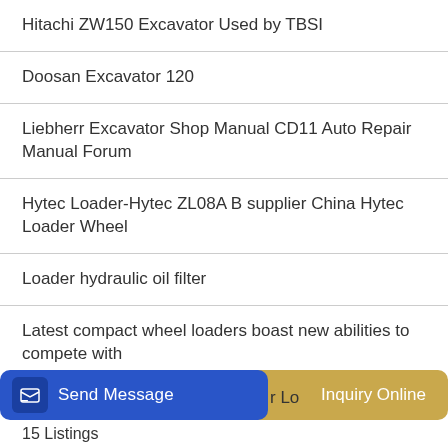Hitachi ZW150 Excavator Used by TBSI
Doosan Excavator 120
Liebherr Excavator Shop Manual CD11 Auto Repair Manual Forum
Hytec Loader-Hytec ZL08A B supplier China Hytec Loader Wheel
Loader hydraulic oil filter
Latest compact wheel loaders boast new abilities to compete with
yy Big Buddha Excavator
[Figure (screenshot): Bottom navigation bar with 'Send Message' blue button on left, partial text 'r Lo' in middle, and 'Inquiry Online' gold/tan button on right with circular blue icon]
15 Listings